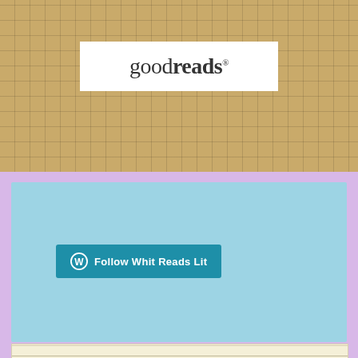[Figure (logo): Goodreads logo on white box, set against a tan grid-patterned background banner]
[Figure (other): WordPress Follow button widget: teal button reading 'Follow Whit Reads Lit' with WordPress icon, on a light blue background]
Archives
July 2022
June 2022
May 2022